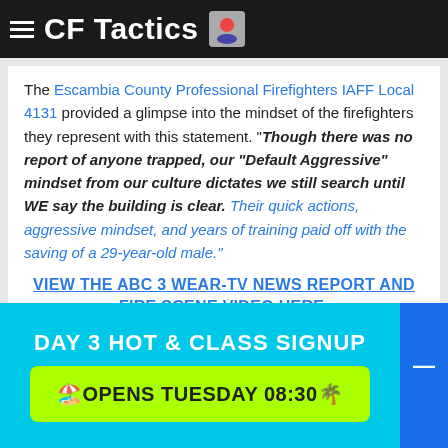CF Tactics
The Escambia County Professional Firefighters IAFF Local 4131 provided a glimpse into the mindset of the firefighters they represent with this statement. “Though there was no report of anyone trapped, our “Default Aggressive” mindset from our culture dictates we still search until WE say the building is clear. Their quick actions, aggressive mindset, and years of training paid off with the saving of a 29-year-old male.”
VIEW THE ABC 3 WEAR-TV NEWS REPORT AND FIRE SCENE VIDEO HERE.
Below you will find two links to listen to this podcast right
DAY 3 HOT & CLASS SIGNUP
🏖️OPENS TUESDAY 08:30🌴